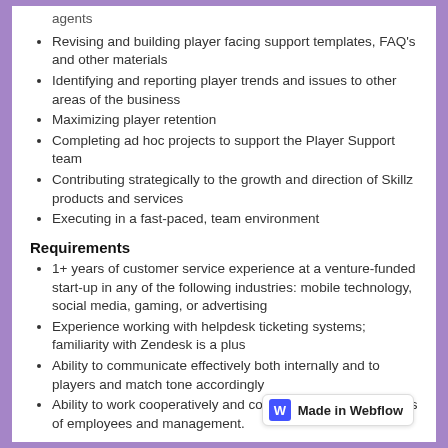agents
Revising and building player facing support templates, FAQ's and other materials
Identifying and reporting player trends and issues to other areas of the business
Maximizing player retention
Completing ad hoc projects to support the Player Support team
Contributing strategically to the growth and direction of Skillz products and services
Executing in a fast-paced, team environment
Requirements
1+ years of customer service experience at a venture-funded start-up in any of the following industries: mobile technology, social media, gaming, or advertising
Experience working with helpdesk ticketing systems; familiarity with Zendesk is a plus
Ability to communicate effectively both internally and to players and match tone accordingly
Ability to work cooperatively and collaboratively with all levels of employees and management